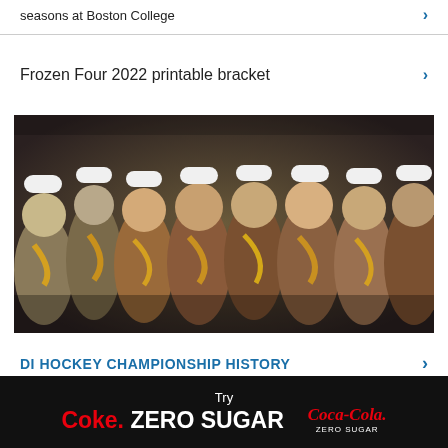seasons at Boston College
Frozen Four 2022 printable bracket
[Figure (photo): Group photo of college hockey team celebrating championship, wearing white jerseys and championship hats/scarves in maroon and gold colors]
DI HOCKEY CHAMPIONSHIP HISTORY
[Figure (logo): Coke Zero Sugar / Coca-Cola Zero Sugar advertisement banner on black background]